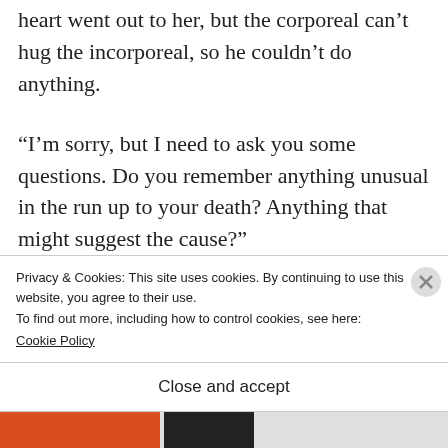heart went out to her, but the corporeal can't hug the incorporeal, so he couldn't do anything.
“I’m sorry, but I need to ask you some questions. Do you remember anything unusual in the run up to your death? Anything that might suggest the cause?”
“When I arrived home from work I felt
Privacy & Cookies: This site uses cookies. By continuing to use this website, you agree to their use.
To find out more, including how to control cookies, see here:
Cookie Policy
Close and accept